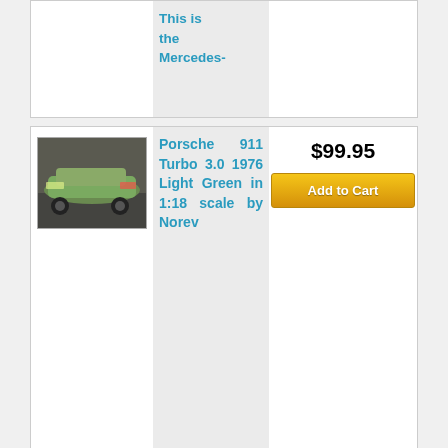[Figure (screenshot): Partial product card at top showing text 'This is the Mercedes-']
[Figure (screenshot): Product card: Porsche 911 Turbo 3.0 1976 Light Green in 1:18 scale by Norev, priced at $99.95 with Add to Cart button]
[Figure (screenshot): Product card: Mercedes-Benz 190 SL 1957 Grey in 1:18 scale by Norev, priced at $119.95 with Add to Cart button, seller: Norev]